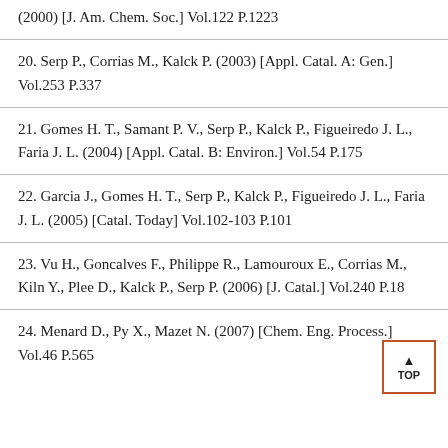(2000) [J. Am. Chem. Soc.] Vol.122 P.1223
20. Serp P., Corrias M., Kalck P. (2003) [Appl. Catal. A: Gen.] Vol.253 P.337
21. Gomes H. T., Samant P. V., Serp P., Kalck P., Figueiredo J. L., Faria J. L. (2004) [Appl. Catal. B: Environ.] Vol.54 P.175
22. Garcia J., Gomes H. T., Serp P., Kalck P., Figueiredo J. L., Faria J. L. (2005) [Catal. Today] Vol.102-103 P.101
23. Vu H., Goncalves F., Philippe R., Lamouroux E., Corrias M., Kiln Y., Plee D., Kalck P., Serp P. (2006) [J. Catal.] Vol.240 P.18
24. Menard D., Py X., Mazet N. (2007) [Chem. Eng. Process.] Vol.46 P.565